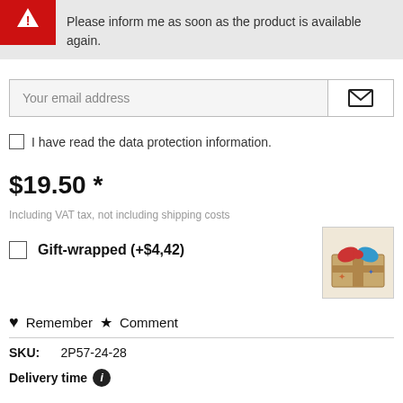Please inform me as soon as the product is available again.
Your email address
I have read the data protection information.
$19.50 *
Including VAT tax, not including shipping costs
Gift-wrapped (+$4,42)
[Figure (photo): Gift-wrapped package tied with string]
Remember Comment
SKU: 2P57-24-28
Delivery time